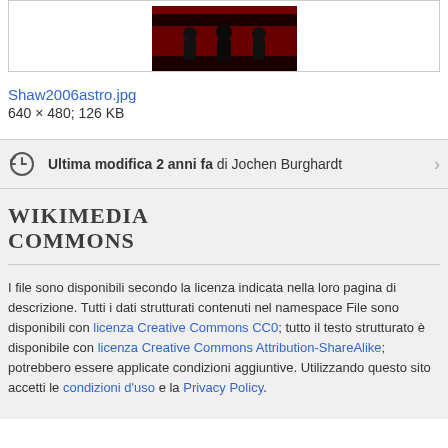[Figure (photo): Photo of people on a red-lit stage, partially visible at top of page]
Shaw2006astro.jpg
640 × 480; 126 KB
Ultima modifica 2 anni fa di Jochen Burghardt
WIKIMEDIA COMMONS
I file sono disponibili secondo la licenza indicata nella loro pagina di descrizione. Tutti i dati strutturati contenuti nel namespace File sono disponibili con licenza Creative Commons CC0; tutto il testo strutturato è disponibile con licenza Creative Commons Attribution-ShareAlike; potrebbero essere applicate condizioni aggiuntive. Utilizzando questo sito accetti le condizioni d'uso e la Privacy Policy.